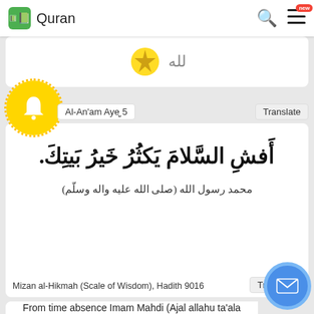Quran
Al-An'am Aye 5
Translate
أَفشِ السَّلامَ يَكثُرُ خَيرُ بَيتِكَ.
محمد رسول الله (صلى الله عليه واله وسلّم)
Mizan al-Hikmah (Scale of Wisdom), Hadith 9016
Translate
From time absence Imam Mahdi (Ajal allahu ta'ala faraja shareef) past.